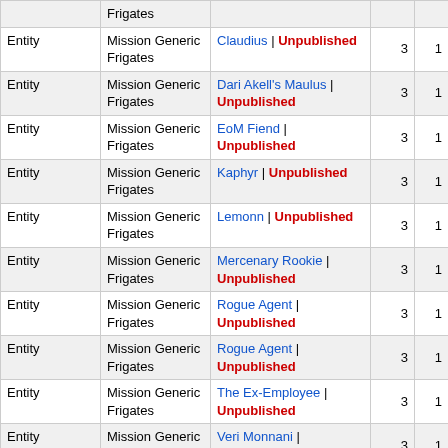|  |  |  |  |  |
| --- | --- | --- | --- | --- |
| Entity | Mission Generic Frigates | Claudius | Unpublished | 3 | 1 |
| Entity | Mission Generic Frigates | Dari Akell's Maulus | Unpublished | 3 | 1 |
| Entity | Mission Generic Frigates | EoM Fiend | Unpublished | 3 | 1 |
| Entity | Mission Generic Frigates | Kaphyr | Unpublished | 3 | 1 |
| Entity | Mission Generic Frigates | Lemonn | Unpublished | 3 | 1 |
| Entity | Mission Generic Frigates | Mercenary Rookie | Unpublished | 3 | 1 |
| Entity | Mission Generic Frigates | Rogue Agent | Unpublished | 3 | 1 |
| Entity | Mission Generic Frigates | Rogue Agent | Unpublished | 3 | 1 |
| Entity | Mission Generic Frigates | The Ex-Employee | Unpublished | 3 | 1 |
| Entity | Mission Generic Frigates | Veri Monnani | Unpublished | 3 | 1 |
| Entity | Mission Generic Frigates | Vivian Menure | Unpublished | 3 | 1 |